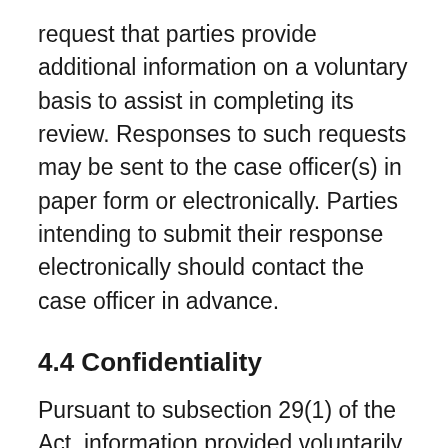request that parties provide additional information on a voluntary basis to assist in completing its review. Responses to such requests may be sent to the case officer(s) in paper form or electronically. Parties intending to submit their response electronically should contact the case officer in advance.
4.4 Confidentiality
Pursuant to subsection 29(1) of the Act, information provided voluntarily or pursuant to sections 102 or 114 of the Act is confidential; however, subsection 29(1) does